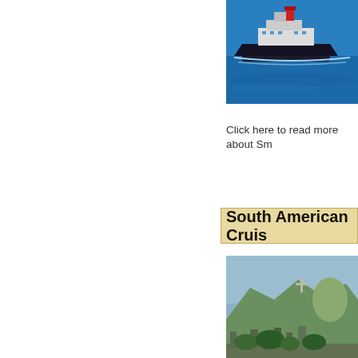[Figure (photo): Cruise ship on blue ocean water, top-right of page, partially cropped]
Click here to read more about Sm...
South American Cruis...
[Figure (photo): Aerial view of Rio de Janeiro cityscape with Sugarloaf Mountain and Christ the Redeemer statue visible]
Click here to read more about So...
Theme Cruises
[Figure (photo): People using laptop computers at tables in a room, theme cruise technology event]